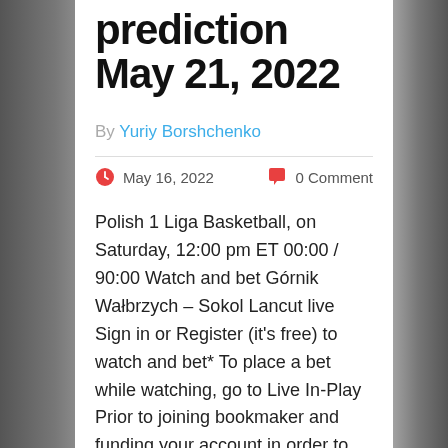prediction May 21, 2022
By Yuriy Borshchenko
May 16, 2022   0 Comment
Polish 1 Liga Basketball, on Saturday, 12:00 pm ET 00:00 / 90:00 Watch and bet Górnik Wałbrzych – Sokol Lancut live Sign in or Register (it's free) to watch and bet* To place a bet while watching, go to Live In-Play Prior to joining bookmaker and funding your account in order to